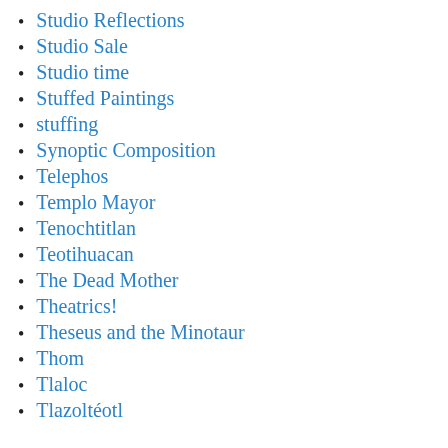Studio Reflections
Studio Sale
Studio time
Stuffed Paintings
stuffing
Synoptic Composition
Telephos
Templo Mayor
Tenochtitlan
Teotihuacan
The Dead Mother
Theatrics!
Theseus and the Minotaur
Thom
Tlaloc
Tlazoltéotl